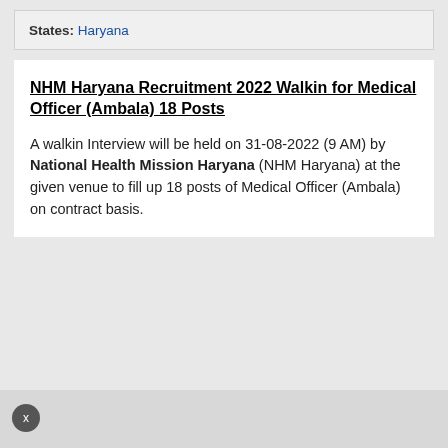States: Haryana
NHM Haryana Recruitment 2022 Walkin for Medical Officer (Ambala) 18 Posts
A walkin Interview will be held on 31-08-2022 (9 AM) by National Health Mission Haryana (NHM Haryana) at the given venue to fill up 18 posts of Medical Officer (Ambala) on contract basis.